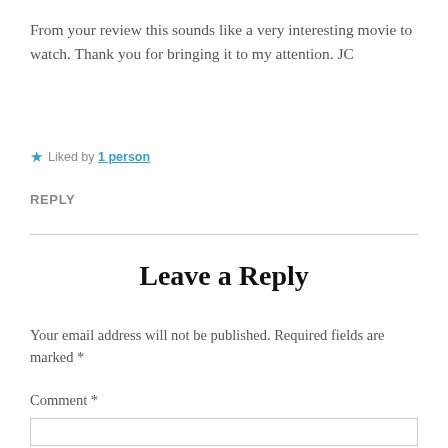From your review this sounds like a very interesting movie to watch. Thank you for bringing it to my attention. JC
★ Liked by 1 person
REPLY
Leave a Reply
Your email address will not be published. Required fields are marked *
Comment *